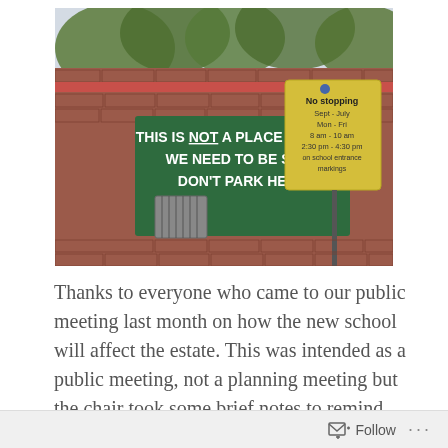[Figure (photo): Photo of a brick wall with a green sign reading 'THIS IS NOT A PLACE TO PARK WE NEED TO BE SAFE DON'T PARK HERE' and a yellow 'No stopping' traffic sign on a pole indicating restrictions Sept-July, Mon-Fri, 8am-10am, 2:30pm-4:30pm on school entrance markings. Trees visible in background.]
Thanks to everyone who came to our public meeting last month on how the new school will affect the estate. This was intended as a public meeting, not a planning meeting but the chair took some brief notes to remind people
Follow ...